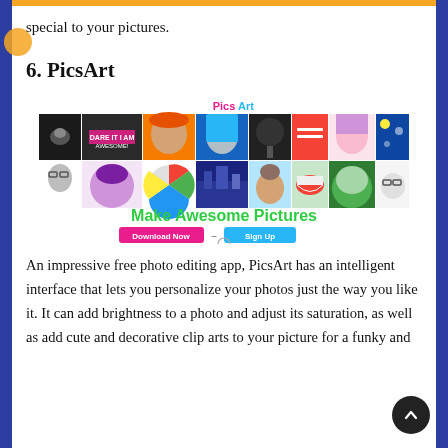special to your pictures.
6. PicsArt
[Figure (screenshot): PicsArt app screenshot showing a collage of edited photos with 'Make Awesome Pictures' tagline and Download Now / Sign Up buttons]
An impressive free photo editing app, PicsArt has an intelligent interface that lets you personalize your photos just the way you like it. It can add brightness to a photo and adjust its saturation, as well as add cute and decorative clip arts to your picture for a funky and